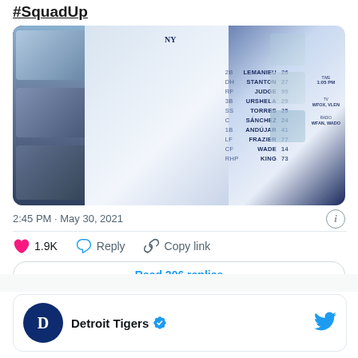#SquadUp
[Figure (photo): New York Yankees lineup card graphic showing pitcher in center, player photos on left side, and lineup table listing: 2B LeMahieu 26, DH Stanton 27, RF Judge 99, 3B Urshela 29, SS Torres 25, C Sánchez 24, 1B Andújar 41, LF Frazier 77, CF Wade 14, RHP King 73]
2:45 PM · May 30, 2021
1.9K
Reply
Copy link
Read 206 replies
Detroit Tigers